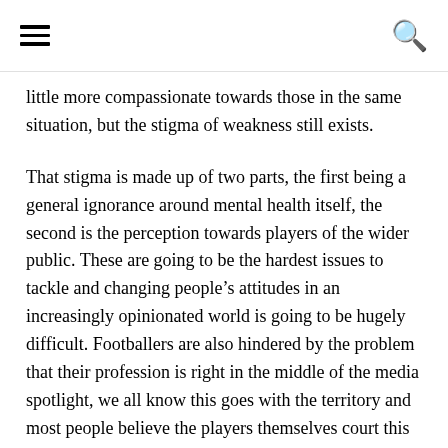[hamburger menu] [search icon]
little more compassionate towards those in the same situation, but the stigma of weakness still exists.
That stigma is made up of two parts, the first being a general ignorance around mental health itself, the second is the perception towards players of the wider public. These are going to be the hardest issues to tackle and changing people’s attitudes in an increasingly opinionated world is going to be hugely difficult. Footballers are also hindered by the problem that their profession is right in the middle of the media spotlight, we all know this goes with the territory and most people believe the players themselves court this hype. However, when things go wrong the feelings of guilt when they’re being expected to perform without question and be a role model, week after week, are significantly increased. Last